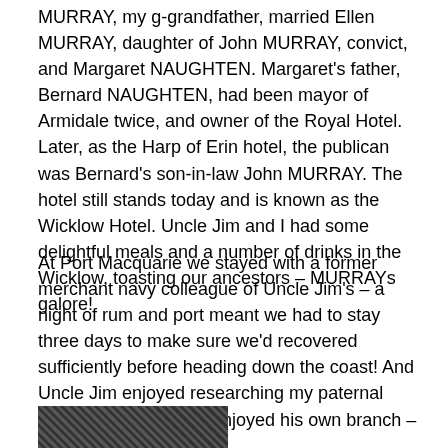MURRAY, my g-grandfather, married Ellen MURRAY, daughter of John MURRAY, convict, and Margaret NAUGHTEN.  Margaret's father, Bernard NAUGHTEN, had been mayor of Armidale twice, and owner of the Royal Hotel.  Later, as the Harp of Erin hotel, the publican was Bernard's son-in-law John MURRAY.  The hotel still stands today and is known as the Wicklow Hotel.  Uncle Jim and I had some delightful meals and a number of drinks in the Wicklow, toasting our ancestors – MURRAYs galore!
At Port Macquarie we stayed with a former merchant navy colleague of Uncle Jim's – a night of rum and port meant we had to stay three days to make sure we'd recovered sufficiently before heading down the coast!  And Uncle Jim enjoyed researching my paternal family as much as he enjoyed his own branch – my maternal family.
[Figure (photo): Partial photo strip visible at bottom of page, mostly cut off]